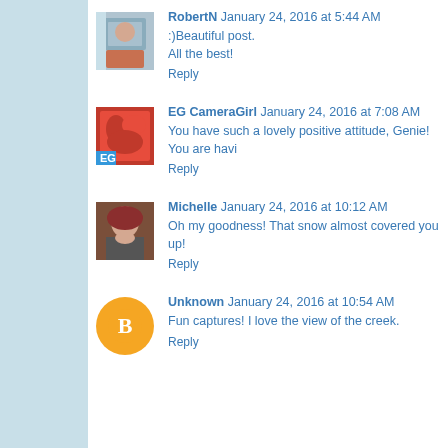[Figure (photo): Avatar photo of RobertN]
RobertN  January 24, 2016 at 5:44 AM
:)Beautiful post.
All the best!
Reply
[Figure (photo): Avatar photo of EG CameraGirl - red flowers]
EG CameraGirl  January 24, 2016 at 7:08 AM
You have such a lovely positive attitude, Genie! You are havi
Reply
[Figure (photo): Avatar photo of Michelle - woman with red hair]
Michelle  January 24, 2016 at 10:12 AM
Oh my goodness! That snow almost covered you up!
Reply
[Figure (logo): Blogger default avatar icon - orange circle with B]
Unknown  January 24, 2016 at 10:54 AM
Fun captures! I love the view of the creek.
Reply